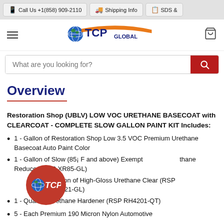📱 Call Us +1(858) 909-2110 | 🚚 Shipping Info | 📋 SDS &
[Figure (logo): TCP Global logo with globe and orange swoosh]
Overview
Restoration Shop (UBLV) LOW VOC URETHANE BASECOAT with CLEARCOAT - COMPLETE SLOW GALLON PAINT KIT Includes:
1 - Gallon of Restoration Shop Low 3.5 VOC Premium Urethane Basecoat Auto Paint Color
1 - Gallon of Slow (85¡ F and above) Exempt thane Reducer (RSP XR85-GL)
allon of High-Gloss Urethane Clear (RSP 4221-GL)
1 - Quart of Urethane Hardener (RSP RH4201-QT)
5 - Each Premium 190 Micron Nylon Automotive